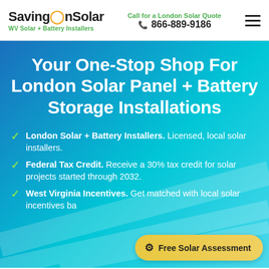SavingOnSolar — WV Solar + Battery Installers | Call for a London Solar Quote | 866-889-9186
Your One-Stop Shop For London Solar Panel + Battery Storage Installations
London Solar + Battery Installers. Licensed, local solar installers.
Federal Tax Credit. Receive a 30% tax credit for solar projects started through 2032.
West Virginia Incentives. Get matched with local solar incentives ba...
Free Solar Assessment